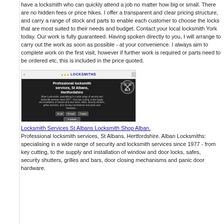have a locksmith who can quickly attend a job no matter how big or small. There are no hidden fees or price hikes. I offer a transparent and clear pricing structure, and carry a range of stock and parts to enable each customer to choose the locks that are most suited to their needs and budget. Contact your local locksmith York today. Our work is fully guaranteed. Having spoken directly to you, I will arrange to carry out the work as soon as possible - at your convenience. I always aim to complete work on the first visit, however if further work is required or parts need to be ordered etc, this is included in the price quoted.
[Figure (screenshot): Screenshot of Alban Locksmiths website showing professional locksmith services page for St Albans, Hertfordshire, with MLA (Master Locksmiths Association) badge]
Locksmith Services St Albans Locksmith Shop Alban.
Professional locksmith services, St Albans, Hertfordshire. Alban Locksmiths: specialising in a wide range of security and locksmith services since 1977 - from key cutting, to the supply and installation of window and door locks, safes, security shutters, grilles and bars, door closing mechanisms and panic door hardware.